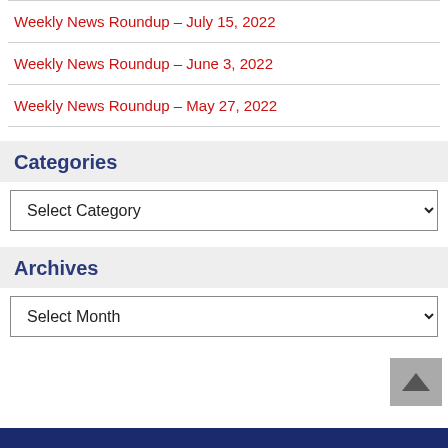Weekly News Roundup – July 15, 2022
Weekly News Roundup – June 3, 2022
Weekly News Roundup – May 27, 2022
Categories
Select Category
Archives
Select Month